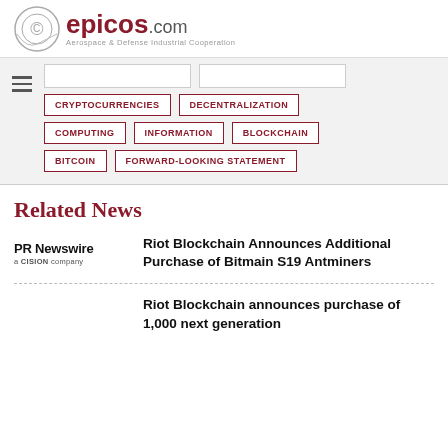epicos.com — Aerospace & Defense Industrial Cooperation
CRYPTOCURRENCIES
DECENTRALIZATION
COMPUTING
INFORMATION
BLOCKCHAIN
BITCOIN
FORWARD-LOOKING STATEMENT
Related News
Riot Blockchain Announces Additional Purchase of Bitmain S19 Antminers
Riot Blockchain announces purchase of 1,000 next generation